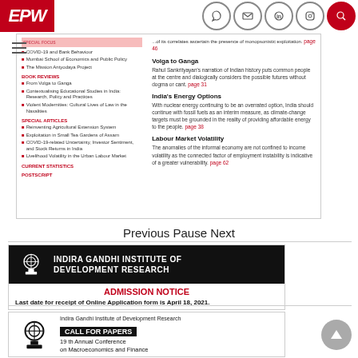EPW — Economic & Political Weekly website header with navigation icons
[Figure (screenshot): EPW table of contents showing left column with book reviews and special articles items, right column with article summaries including Volga to Ganga, India's Energy Options, Labour Market Volatility]
Previous Pause Next
[Figure (infographic): Indira Gandhi Institute of Development Research admission notice banner. Black header with logo and institute name. Red ADMISSION NOTICE text. Text: Last date for receipt of Online Application form is April 18, 2021.]
[Figure (infographic): Indira Gandhi Institute of Development Research Call for Papers banner. Logo on left. Text: Indira Gandhi Institute of Development Research, CALL FOR PAPERS, 19 th Annual Conference on Macroeconomics and Finance]